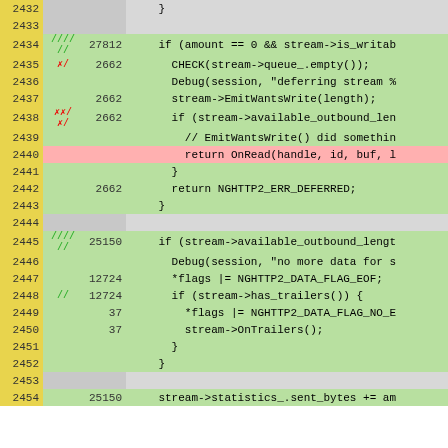[Figure (screenshot): Code coverage diff view showing lines 2432-2454 of a C++ source file. Yellow left column shows line numbers, grey middle columns show coverage marks and hit counts, green/grey/pink right column shows source code with diff highlighting. Green background indicates covered/added lines, pink indicates uncovered lines, grey indicates unchanged lines.]